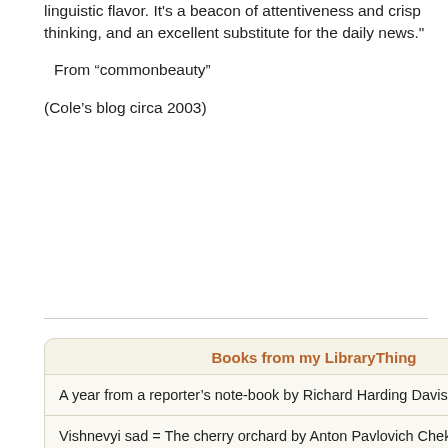linguistic flavor. It's a beacon of attentiveness and crisp thinking, and an excellent substitute for the daily news."
From “commonbeauty”
(Cole's blog circa 2003)
Books from my LibraryThing
A year from a reporter's note-book by Richard Harding Davis
Vishnevyi sad = The cherry orchard by Anton Pavlovich Chekhov
They've stolen our team!: A chronology and recollection of the 1960 Washington Senators by David Gough
Curious George Gets a Medal (Curious George - Level 1) by H. A. Rey